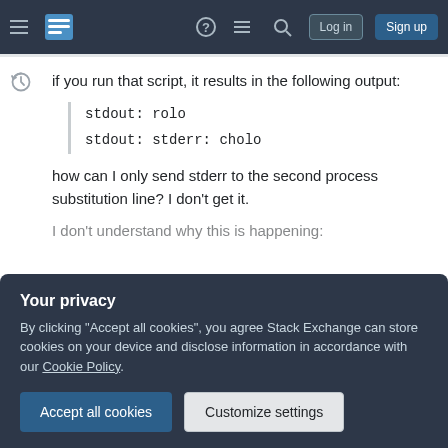Stack Exchange navigation bar with Log in and Sign up buttons
if you run that script, it results in the following output:
stdout: rolo
stdout: stderr: cholo
how can I only send stderr to the second process substitution line? I don't get it.
I don't understand why this is happening:
Your privacy
By clicking "Accept all cookies", you agree Stack Exchange can store cookies on your device and disclose information in accordance with our Cookie Policy.
Accept all cookies
Customize settings